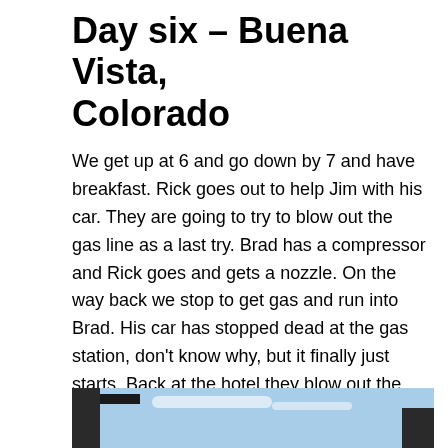Day six – Buena Vista, Colorado
We get up at 6 and go down by 7 and have breakfast. Rick goes out to help Jim with his car. They are going to try to blow out the gas line as a last try. Brad has a compressor and Rick goes and gets a nozzle. On the way back we stop to get gas and run into Brad. His car has stopped dead at the gas station, don't know why, but it finally just starts. Back at the hotel they blow out the gas line. Others have left so Jim and Dorothea and us take off.
[Figure (photo): Photo of a building structure against a blue sky]